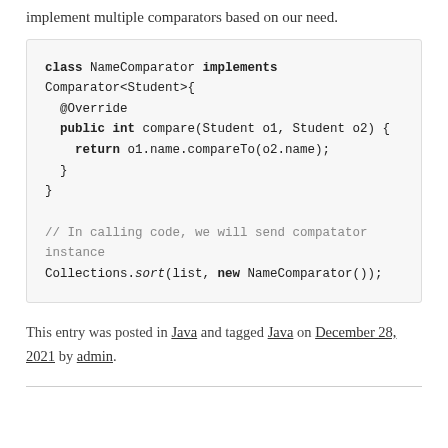implement multiple comparators based on our need.
[Figure (screenshot): Java code block showing NameComparator class implementing Comparator<Student> with compare method, and Collections.sort call]
This entry was posted in Java and tagged Java on December 28, 2021 by admin.